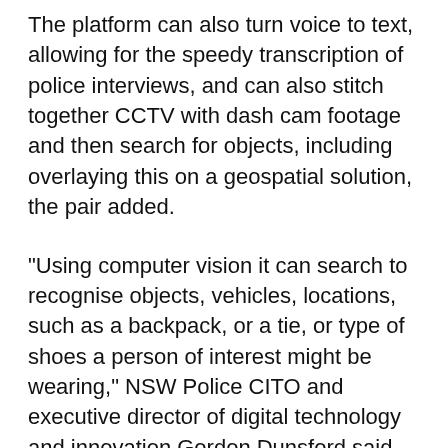The platform can also turn voice to text, allowing for the speedy transcription of police interviews, and can also stitch together CCTV with dash cam footage and then search for objects, including overlaying this on a geospatial solution, the pair added.
"Using computer vision it can search to recognise objects, vehicles, locations, such as a backpack, or a tie, or type of shoes a person of interest might be wearing," NSW Police CITO and executive director of digital technology and innovation Gordon Dunsford said.
"The system has been designed with ethics front